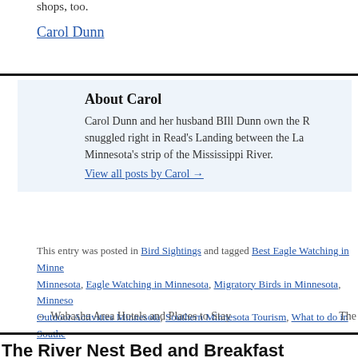shops, too.
Carol Dunn
About Carol
Carol Dunn and her husband BIll Dunn own the R... snuggled right in Read's Landing between the La... Minnesota's strip of the Mississippi River.
View all posts by Carol →
This entry was posted in Bird Sightings and tagged Best Eagle Watching in Minne..., Minnesota, Eagle Watching in Minnesota, Migratory Birds in Minnesota, Minneso... Outdoor Activities Minnesota, Southern Minnesota Tourism, What to do in Southe...
← Wabasha Area Hotels and Places to Stay    The...
The River Nest Bed and Breakfast